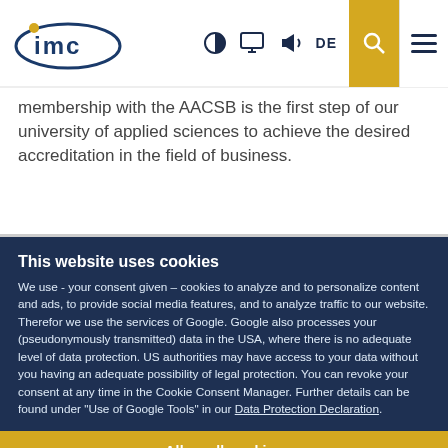imc [logo with navigation icons: contrast, monitor, megaphone, DE, search, menu]
membership with the AACSB is the first step of our university of applied sciences to achieve the desired accreditation in the field of business.
This website uses cookies
We use - your consent given – cookies to analyze and to personalize content and ads, to provide social media features, and to analyze traffic to our website. Therefor we use the services of Google. Google also processes your (pseudonymously transmitted) data in the USA, where there is no adequate level of data protection. US authorities may have access to your data without you having an adequate possibility of legal protection. You can revoke your consent at any time in the Cookie Consent Manager. Further details can be found under "Use of Google Tools" in our Data Protection Declaration.
Allow all cookies
Use necessary cookies only
Show details